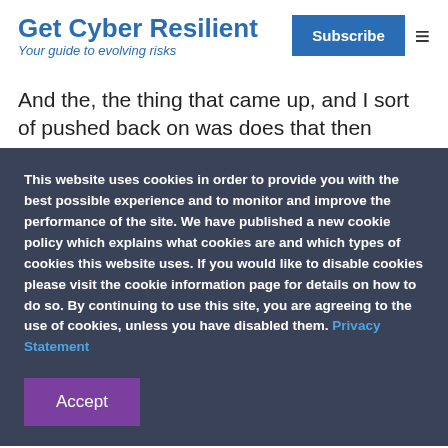Get Cyber Resilient
Your guide to evolving risks
And the, the thing that came up, and I sort of pushed back on was does that then eliminate many of the SMEs
This website uses cookies in order to provide you with the best possible experience and to monitor and improve the performance of the site. We have published a new cookie policy which explains what cookies are and which types of cookies this website uses. If you would like to disable cookies please visit the cookie information page for details on how to do so. By continuing to use this site, you are agreeing to the use of cookies, unless you have disabled them. Privacy Statement
Accept